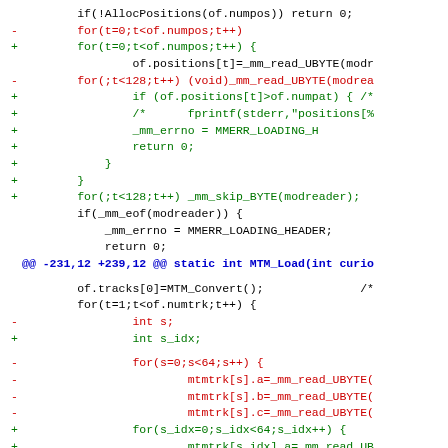Diff/patch code listing showing changes to MTM_Load function
if(!AllocPositions(of.numpos)) return 0;
- for(t=0;t<of.numpos;t++)
+ for(t=0;t<of.numpos;t++) {
of.positions[t]=_mm_read_UBYTE(modr
- for(;t<128;t++) (void)_mm_read_UBYTE(modrea
+             if (of.positions[t]>of.numpat) { /*
+ /*         fprintf(stderr,"positions[%
+             _mm_errno = MMERR_LOADING_H
+             return 0;
+         }
+     }
+         for(;t<128;t++) _mm_skip_BYTE(modreader);
if(_mm_eof(modreader)) {
_mm_errno = MMERR_LOADING_HEADER;
return 0;
@@ -231,12 +239,12 @@ static int MTM_Load(int curio
of.tracks[0]=MTM_Convert();            /*
for(t=1;t<of.numtrk;t++) {
- int s;
+ int s_idx;
- for(s=0;s<64;s++) {
-         mtmtrk[s].a=_mm_read_UBYTE(
-         mtmtrk[s].b=_mm_read_UBYTE(
-         mtmtrk[s].c=_mm_read_UBYTE(
+         for(s_idx=0;s_idx<64;s_idx++) {
+             mtmtrk[s_idx].a=_mm_read_UB
+             mtmtrk[s_idx].b=_mm_read_UB